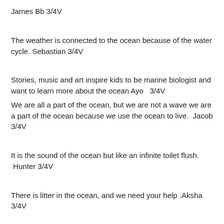James Bb 3/4V
The weather is connected to the ocean because of the water cycle. Sebastian 3/4V
Stories, music and art inspire kids to be marine biologist and want to learn more about the ocean Ayo   3/4V
We are all a part of the ocean, but we are not a wave we are a part of the ocean because we use the ocean to live.  Jacob 3/4V
It is the sound of the ocean but like an infinite toilet flush.  Hunter 3/4V
There is litter in the ocean, and we need your help .Aksha 3/4V
“You are not a wave you are are part of the ocean”. When I hear that quote, I think of why we should take more care of the ocean